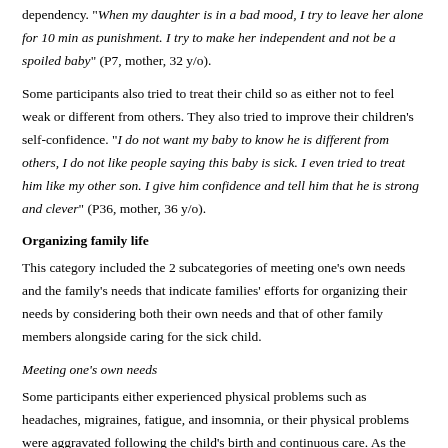dependency. "When my daughter is in a bad mood, I try to leave her alone for 10 min as punishment. I try to make her independent and not be a spoiled baby" (P7, mother, 32 y/o).
Some participants also tried to treat their child so as either not to feel weak or different from others. They also tried to improve their children's self-confidence. "I do not want my baby to know he is different from others, I do not like people saying this baby is sick. I even tried to treat him like my other son. I give him confidence and tell him that he is strong and clever" (P36, mother, 36 y/o).
Organizing family life
This category included the 2 subcategories of meeting one's own needs and the family's needs that indicate families' efforts for organizing their needs by considering both their own needs and that of other family members alongside caring for the sick child.
Meeting one's own needs
Some participants either experienced physical problems such as headaches, migraines, fatigue, and insomnia, or their physical problems were aggravated following the child's birth and continuous care. As the families experienced high